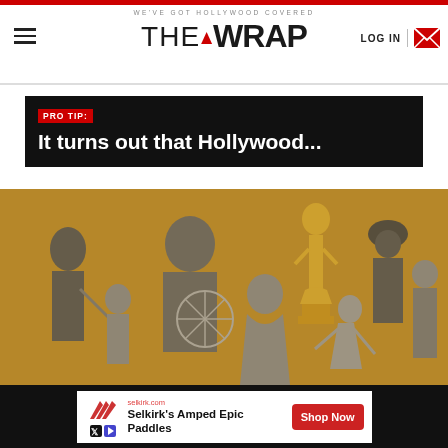THE WRAP — WE'VE GOT HOLLYWOOD COVERED
PRO TIP: It turns out that Hollywood…
[Figure (photo): Gold-tinted collage of Hollywood actors around an Oscar statuette on a golden background — includes figures in period costumes and contemporary poses]
[Figure (infographic): Advertisement: Selkirk's Amped Epic Paddles — selkirk.com — Shop Now button]